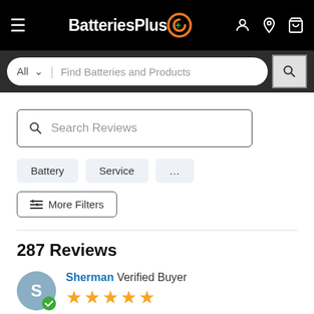BatteriesPlus — navigation header with hamburger menu, logo, account, location, and cart icons
All   Find Batteries and Products
Search Reviews
Battery
Service
...
More Filters
287 Reviews
Sherman Verified Buyer ★★★★★